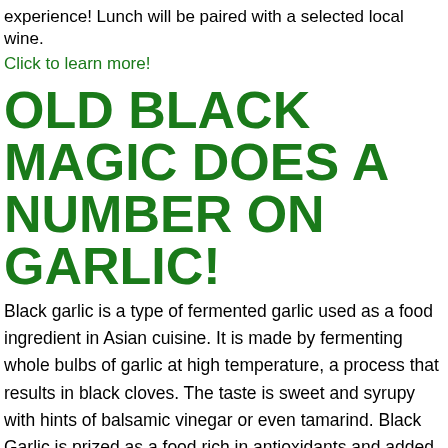experience! Lunch will be paired with a selected local wine.
Click to learn more!
OLD BLACK MAGIC DOES A NUMBER ON GARLIC!
Black garlic is a type of fermented garlic used as a food ingredient in Asian cuisine. It is made by fermenting whole bulbs of garlic at high temperature, a process that results in black cloves. The taste is sweet and syrupy with hints of balsamic vinegar or even tamarind. Black Garlic is prized as a food rich in antioxidants and added to energy drinks, and in Thailand is claimed to increase the consumer's longevity. One interesting use is in the making of black